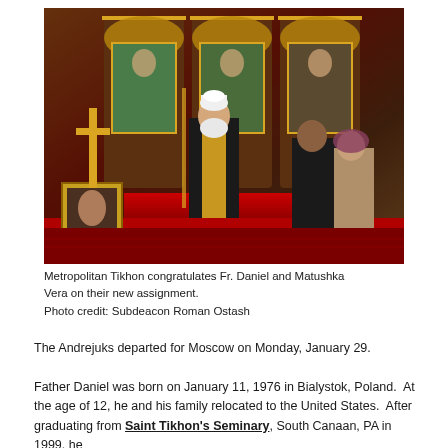[Figure (photo): Metropolitan Tikhon in golden vestments standing before an Orthodox iconostasis, speaking with Fr. Daniel and Matushka Vera in a church interior with red carpet and icons.]
Metropolitan Tikhon congratulates Fr. Daniel and Matushka Vera on their new assignment.
Photo credit: Subdeacon Roman Ostash
The Andrejuks departed for Moscow on Monday, January 29.
Father Daniel was born on January 11, 1976 in Bialystok, Poland.  At the age of 12, he and his family relocated to the United States.  After graduating from Saint Tikhon's Seminary, South Canaan, PA in 1999, he